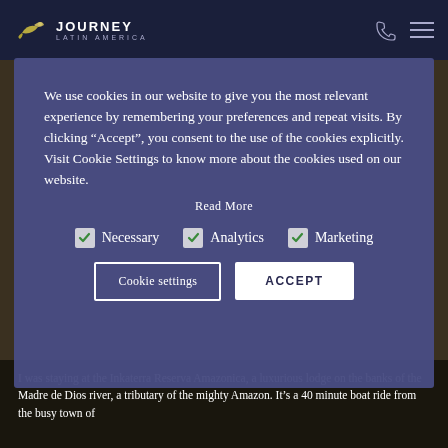[Figure (screenshot): Journey Latin America website header with logo (hummingbird + text) on dark navy background, phone icon and hamburger menu icon on the right]
[Figure (screenshot): Cookie consent modal overlay on purple-blue background with text about cookie usage, Read More link, checkboxes for Necessary/Analytics/Marketing (all checked), Cookie settings button and ACCEPT button]
We use cookies in our website to give you the most relevant experience by remembering your preferences and repeat visits. By clicking “Accept”, you consent to the use of the cookies explicitly. Visit Cookie Settings to know more about the cookies used on our website.
Read More
Necessary
Analytics
Marketing
Cookie settings
ACCEPT
I was staying at the Inkaterra Reserva Amazonica, a luxurious lodge on the banks of the Madre de Dios river, a tributary of the mighty Amazon. It’s a 40 minute boat ride from the busy town of